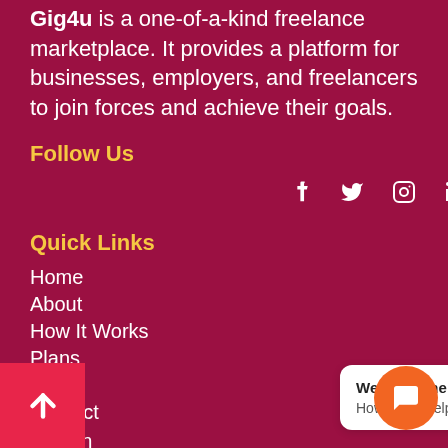Gig4u is a one-of-a-kind freelance marketplace. It provides a platform for businesses, employers, and freelancers to join forces and achieve their goals.
Follow Us
[Figure (illustration): Social media icons: Facebook, Twitter, Instagram, LinkedIn]
Quick Links
Home
About
How It Works
Plans
Blog
Contact
Sign In
[Figure (illustration): We're Online! How may I help you toda... chat widget with orange button]
[Figure (illustration): Back to top arrow button (pink/red square)]